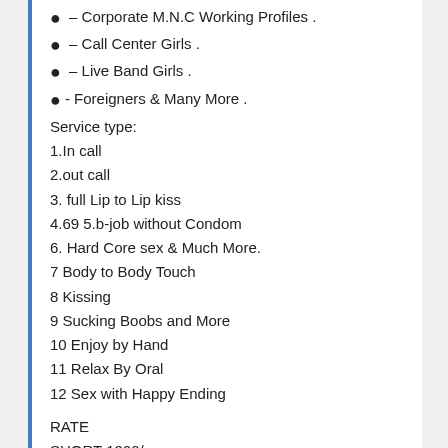● – Corporate M.N.C Working Profiles .
● – Call Center Girls .
● – Live Band Girls .
●- Foreigners & Many More .
Service type:
1.In call
2.out call
3. full Lip to Lip kiss
4.69 5.b-job without Condom
6. Hard Core sex & Much More.
7 Body to Body Touch
8 Kissing
9 Sucking Boobs and More
10 Enjoy by Hand
11 Relax By Oral
12 Sex with Happy Ending
RATE
SHORT 1200/
SHORT 1500/
SHORT 2000/-
FULL NIGHT 4500/
FULL NIGHT 5000/